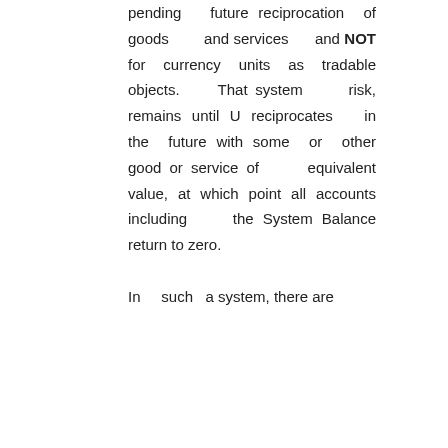pending future reciprocation of goods and services and NOT for currency units as tradable objects. That system risk, remains until U reciprocates in the future with some or other good or service of equivalent value, at which point all accounts including the System Balance return to zero.

In such a system, there are